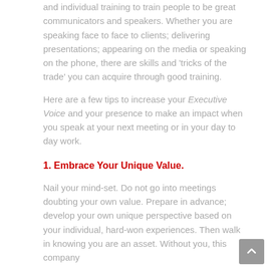and individual training to train people to be great communicators and speakers. Whether you are speaking face to face to clients; delivering presentations; appearing on the media or speaking on the phone, there are skills and 'tricks of the trade' you can acquire through good training.
Here are a few tips to increase your Executive Voice and your presence to make an impact when you speak at your next meeting or in your day to day work.
1. Embrace Your Unique Value.
Nail your mind-set. Do not go into meetings doubting your own value. Prepare in advance; develop your own unique perspective based on your individual, hard-won experiences. Then walk in knowing you are an asset. Without you, this company